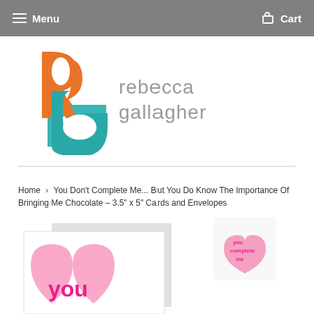Menu   Cart
[Figure (logo): Rebecca Gallagher brand logo with interlocking 'r' and 'g' in orange and teal, with 'rebecca gallagher' text in grey]
Home › You Don't Complete Me... But You Do Know The Importance Of Bringing Me Chocolate – 3.5" x 5" Cards and Envelopes
[Figure (photo): Product photo of a greeting card featuring two pink hearts with the word 'you' and 'me' in hot pink text, partially visible]
[Figure (photo): Small thumbnail showing pink greeting card with text 'you complete me']